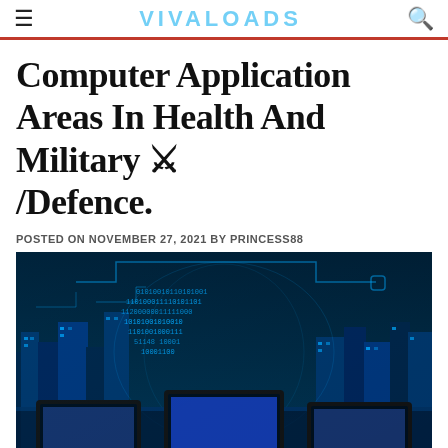VIVALOADS
Computer Application Areas In Health And Military ⚔ /Defence.
POSTED ON NOVEMBER 27, 2021 BY PRINCESS88
[Figure (photo): A futuristic digital cityscape with glowing blue binary code and circuit lines overlaid on skyscrapers at night, with three laptop computers in the foreground displaying blue screens.]